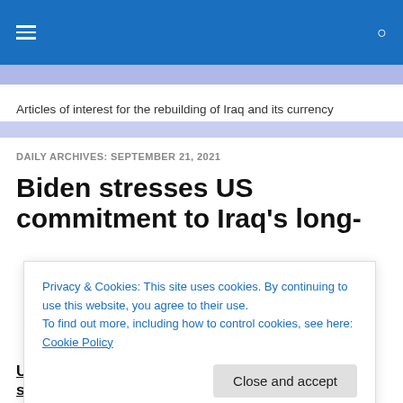Articles of interest for the rebuilding of Iraq and its currency
DAILY ARCHIVES: SEPTEMBER 21, 2021
Biden stresses US commitment to Iraq's long-
Privacy & Cookies: This site uses cookies. By continuing to use this website, you agree to their use.
To find out more, including how to control cookies, see here: Cookie Policy
Close and accept
United States commitment to Iraq's long-term stability,